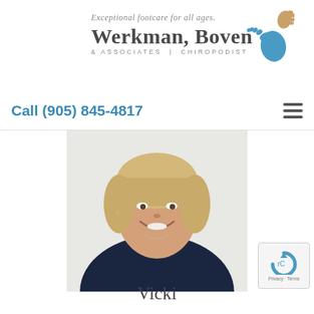[Figure (logo): Werkman, Boven & Associates Chiropodist logo with two footprints forming a heart shape, tagline: Exceptional footcare for all ages.]
Call (905) 845-4817
[Figure (photo): Professional headshot of a woman named Vicki, smiling, with short blonde hair, wearing a dark navy top, white background]
Vicki